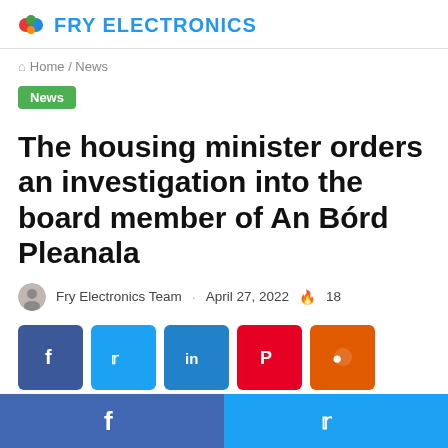FRY ELECTRONICS
Home / News
News
The housing minister orders an investigation into the board member of An Bórd Pleanala
Fry Electronics Team · April 27, 2022 🔥 18
[Figure (other): Social share buttons: Facebook, Twitter, LinkedIn, Pinterest, Reddit]
Facebook | Twitter share bar